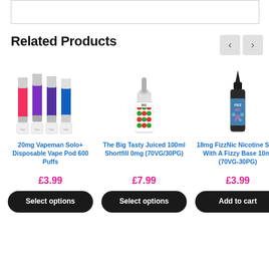[Figure (other): Top border box area (partial product image or banner)]
Related Products
[Figure (photo): 20mg Vapeman Solo+ Disposable Vape Pod 600 Puffs - product image showing multiple colorful vape pens]
20mg Vapeman Solo+ Disposable Vape Pod 600 Puffs
£3.99
Select options
[Figure (photo): The Big Tasty Juiced 100ml Shortfill 0mg (70VG/30PG) - product image showing a bottle with colorful label]
The Big Tasty Juiced 100ml Shortfill 0mg (70VG/30PG)
£7.99
Select options
[Figure (photo): 18mg FizzNic Nicotine Shot With A Fizzy Base 10ml (70VG-30PG) - product image showing a small dark bottle]
18mg FizzNic Nicotine Shot With A Fizzy Base 10ml (70VG-30PG)
£3.99
Add to cart